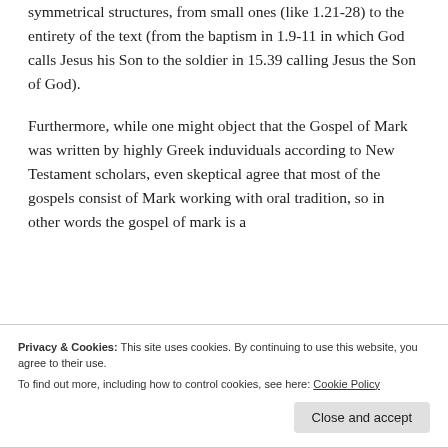symmetrical structures, from small ones (like 1.21-28) to the entirety of the text (from the baptism in 1.9-11 in which God calls Jesus his Son to the soldier in 15.39 calling Jesus the Son of God).
Furthermore, while one might object that the Gospel of Mark was written by highly Greek induviduals according to New Testament scholars, even skeptical agree that most of the gospels consist of Mark working with oral tradition, so in other words the gospel of mark is a
Privacy & Cookies: This site uses cookies. By continuing to use this website, you agree to their use.
To find out more, including how to control cookies, see here: Cookie Policy